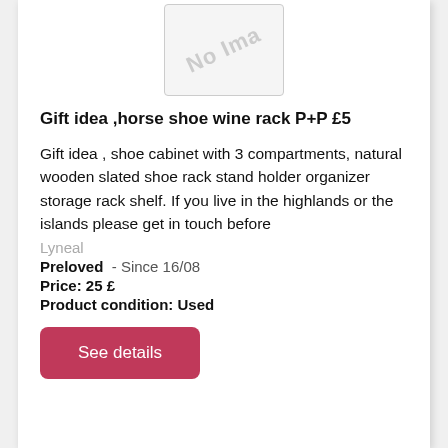[Figure (photo): No image placeholder box with diagonal 'No Image' watermark text]
Gift idea ,horse shoe wine rack P+P £5
Gift idea , shoe cabinet with 3 compartments, natural wooden slated shoe rack stand holder organizer storage rack shelf. If you live in the highlands or the islands please get in touch before
Lyneal
Preloved  - Since 16/08
Price: 25 £
Product condition: Used
See details